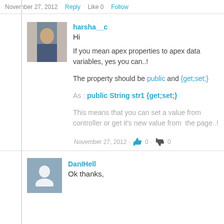November 27, 2012   Reply   Like 0   Follow
harsha__c
Hi

If you mean apex properties to apex data variables, yes you can..!

The property should be public and {get;set;}

As : public String str1 {get;set;}

This means that you can set a value from controller or get it's new value from  the page..!
November 27, 2012 · 0 · 0
DanIHell
Ok thanks,